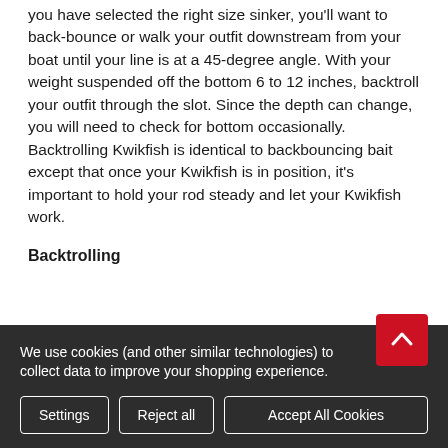you have selected the right size sinker, you'll want to back-bounce or walk your outfit downstream from your boat until your line is at a 45-degree angle. With your weight suspended off the bottom 6 to 12 inches, backtroll your outfit through the slot. Since the depth can change, you will need to check for bottom occasionally. Backtrolling Kwikfish is identical to backbouncing bait except that once your Kwikfish is in position, it's important to hold your rod steady and let your Kwikfish work.
Backtrolling
With your boat headed upstream above the area you wish to fish, row or run your motor just fast enough to hold
We use cookies (and other similar technologies) to collect data to improve your shopping experience.
Settings | Reject all | Accept All Cookies